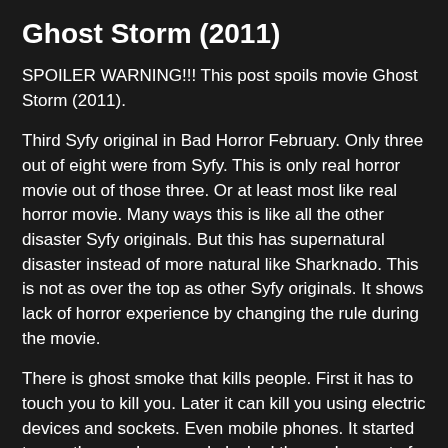Ghost Storm (2011)
SPOILER WARNING!!! This post spoils movie Ghost Storm (2011).
Third Syfy original in Bad Horror February. Only three out of eight were from Syfy. This is only real horror movie out of those three. Or at least most like real horror movie. Many ways this is like all the other disaster Syfy originals. But this has supernatural disaster instead of more natural like Sharknado. This is not as over the top as other Syfy originals. It shows lack of horror experience by changing the rule during the movie.
There is ghost smoke that kills people. First it has to touch you to kill you. Later it can kill you using electric devices and sockets. Even mobile phones. It started to use those, when people locked themselves out of smokes reach. When it couldn't use electric sockets, it could used pipelines and turned into blood, which opened cracks under taped doors. People were in church. They were safe there, until it was time for panic. Then smoke killed people without any